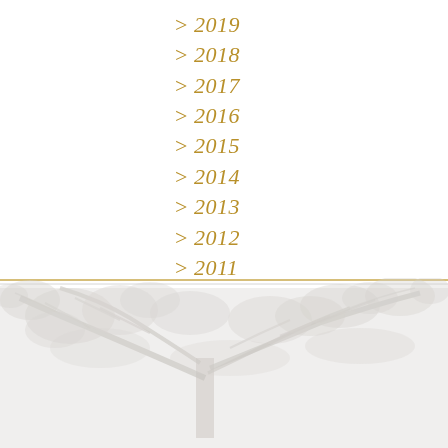> 2019
> 2018
> 2017
> 2016
> 2015
> 2014
> 2013
> 2012
> 2011
> 2010
> 2009
[Figure (illustration): Faded grey tree silhouette image at the bottom of the page, with two thin horizontal rules above it (one gold, one grey).]